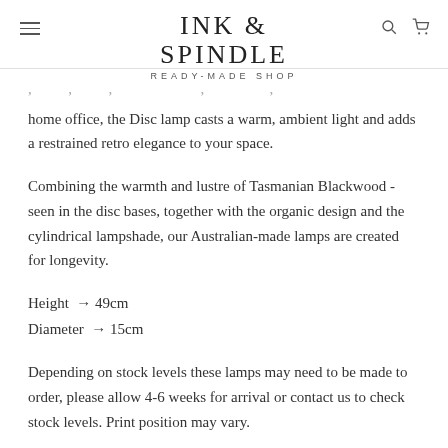INK & SPINDLE
READY-MADE SHOP
home office, the Disc lamp casts a warm, ambient light and adds a restrained retro elegance to your space.
Combining the warmth and lustre of Tasmanian Blackwood - seen in the disc bases, together with the organic design and the cylindrical lampshade, our Australian-made lamps are created for longevity.
Height → 49cm
Diameter → 15cm
Depending on stock levels these lamps may need to be made to order, please allow 4-6 weeks for arrival or contact us to check stock levels. Print position may vary.